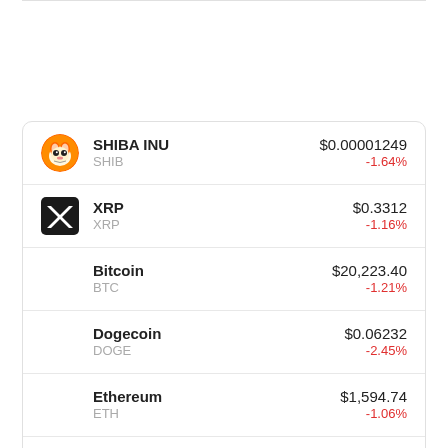| Coin | Ticker | Price | Change |
| --- | --- | --- | --- |
| SHIBA INU | SHIB | $0.00001249 | -1.64% |
| XRP | XRP | $0.3312 | -1.16% |
| Bitcoin | BTC | $20,223.40 | -1.21% |
| Dogecoin | DOGE | $0.06232 | -2.45% |
| Ethereum | ETH | $1,594.74 | -1.06% |
| Cronos | CRO | $0.123 | -2.73% |